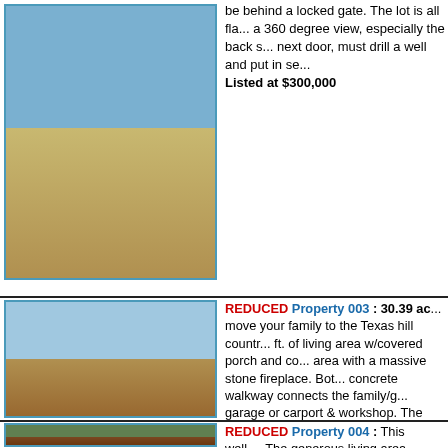[Figure (photo): Landscape photo of open land with hills and fence in background]
be behind a locked gate. The lot is all flat, has a 360 degree view, especially the back side next door, must drill a well and put in se... Listed at $300,000
[Figure (photo): Photo of a stone ranch house with large tree and open land]
REDUCED Property 003 : 30.39 ac... move your family to the Texas hill country... ft. of living area w/covered porch and co... area with a massive stone fireplace. Bot... concrete walkway connects the family/g... garage or carport & workshop. The hous... 8' tool/storage shed, plus a 13' x 8' raise... and cross-fenced and includes a 36' x 1... status. A seasonal creek runs along the... this unique and beautiful property. No H... location, just four miles southwest of Lea... road. On-site utilities include BEC electr... septic system. You'll love the recreationa... to the Frio River, horseback riding, and c... Listed at $999,999
[Figure (photo): Photo of a wood cabin/house with covered deck surrounded by trees]
REDUCED Property 004 : This well-... The generous living area features a vau... dining area. A lovely covered deck and s... the views, peace and quiet. Owners sha... beneath the home for all that river gear... ...